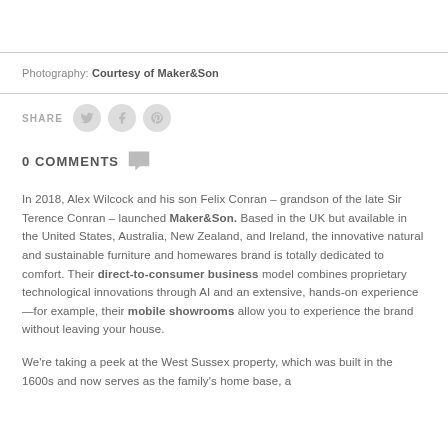Photography: Courtesy of Maker&Son
SHARE
0 COMMENTS
In 2018, Alex Wilcock and his son Felix Conran – grandson of the late Sir Terence Conran – launched Maker&Son. Based in the UK but available in the United States, Australia, New Zealand, and Ireland, the innovative natural and sustainable furniture and homewares brand is totally dedicated to comfort. Their direct-to-consumer business model combines proprietary technological innovations through AI and an extensive, hands-on experience—for example, their mobile showrooms allow you to experience the brand without leaving your house.
We're taking a peek at the West Sussex property, which was built in the 1600s and now serves as the family's home base, a